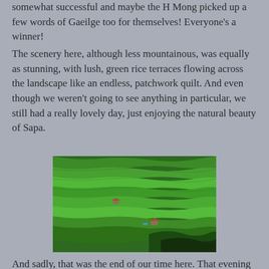somewhat successful and maybe the H Mong picked up a few words of Gaeilge too for themselves! Everyone's a winner!
The scenery here, although less mountainous, was equally as stunning, with lush, green rice terraces flowing across the landscape like an endless, patchwork quilt. And even though we weren't going to see anything in particular, we still had a really lovely day, just enjoying the natural beauty of Sapa.
[Figure (photo): Aerial view of vivid green rice terraces in Sapa, Vietnam, with two small huts visible among the terraced fields and darker vegetation in the lower right corner.]
And sadly, that was the end of our time here. That evening we got a